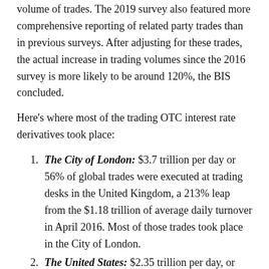volume of trades. The 2019 survey also featured more comprehensive reporting of related party trades than in previous surveys. After adjusting for these trades, the actual increase in trading volumes since the 2016 survey is more likely to be around 120%, the BIS concluded.
Here's where most of the trading OTC interest rate derivatives took place:
The City of London: $3.7 trillion per day or 56% of global trades were executed at trading desks in the United Kingdom, a 213% leap from the $1.18 trillion of average daily turnover in April 2016. Most of those trades took place in the City of London.
The United States: $2.35 trillion per day, or 32% of the global turnover, up 9.8% from $1.24 trillion in 2016. Back in 2016, the U.S. had been for a brief moment the world's biggest market in these